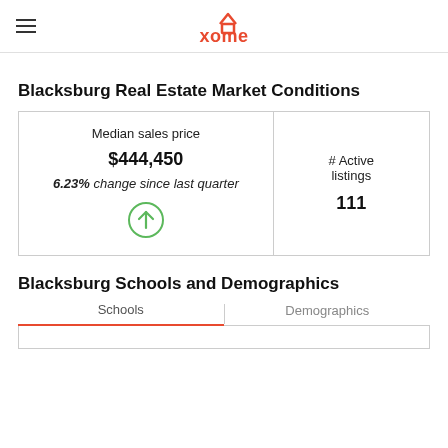xome
Blacksburg Real Estate Market Conditions
| Median sales price | # Active listings |
| --- | --- |
| $444,450
6.23% change since last quarter
↑ | 111 |
Blacksburg Schools and Demographics
Schools | Demographics